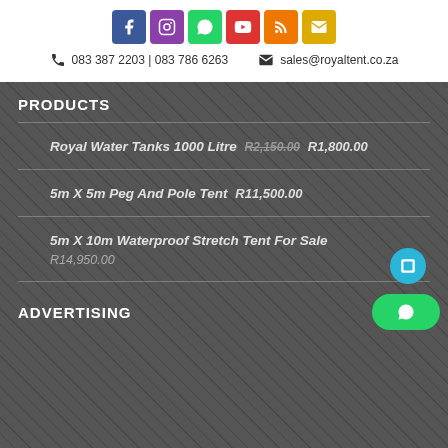[Figure (infographic): Social media icon buttons: Facebook (blue), Instagram (purple), WhatsApp (green), YouTube (red), RSS (orange), Email (yellow)]
083 387 2203 | 083 786 6263   sales@royaltent.co.za
PRODUCTS
Royal Water Tanks 1000 Litre R2,150.00 R1,800.00
5m X 5m Peg And Pole Tent R11,500.00
5m X 10m Waterproof Stretch Tent For Sale R14,950.00
ADVERTISING